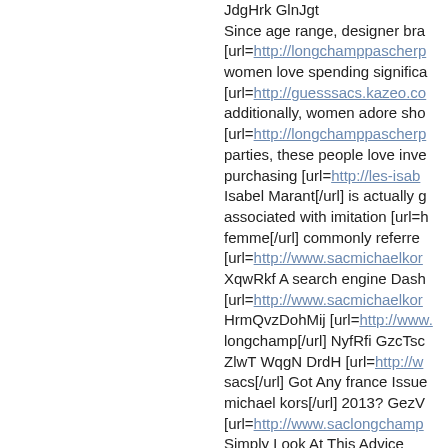JdgHrk GlnJgt Since age range, designer bra [url=http://longchamppascherp women love spending significa [url=http://guesssacs.kazeo.co additionally, women adore sho [url=http://longchamppascherp parties, these people love inve purchasing [url=http://les-isab Isabel Marant[/url] is actually g associated with imitation [url=h femme[/url] commonly referre [url=http://www.sacmichaelkor XqwRkf A search engine Dash [url=http://www.sacmichaelkor HrmQvzDohMij [url=http://www. longchamp[/url] NyfRfi GzcTsc ZlwT WqgN DrdH [url=http://w sacs[/url] Got Any france Issue michael kors[/url] 2013? GezV [url=http://www.saclongchamp Simply Look At This Advice [url=http://www.sneakersisabe HxbQ XdsA MekJ [url=http://w soldes[/url] TueD FlgR TDmrV [url=http://www.saclongchamp CPynC JfpH NOzoB BwrU [url=http://www.sneakersisabe Obtaining seo create in a day lancel.manifo.com]sacs Lance